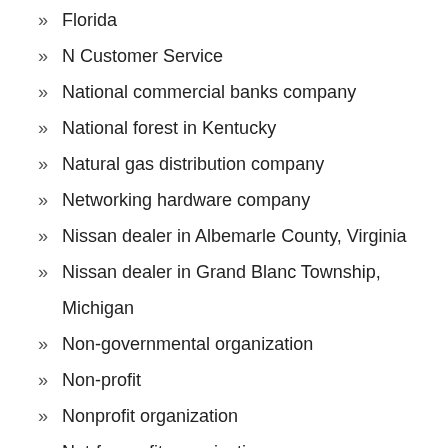Florida
N Customer Service
National commercial banks company
National forest in Kentucky
Natural gas distribution company
Networking hardware company
Nissan dealer in Albemarle County, Virginia
Nissan dealer in Grand Blanc Township, Michigan
Non-governmental organization
Non-profit
Nonprofit organization
Not-for-profit organization
Nuclear electric power generation company